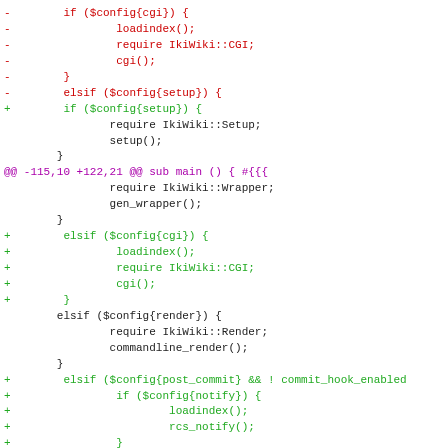[Figure (screenshot): A code diff showing removed lines in red and added lines in green, with a diff hunk header in purple. The diff is for Perl code related to IkiWiki configuration handling.]